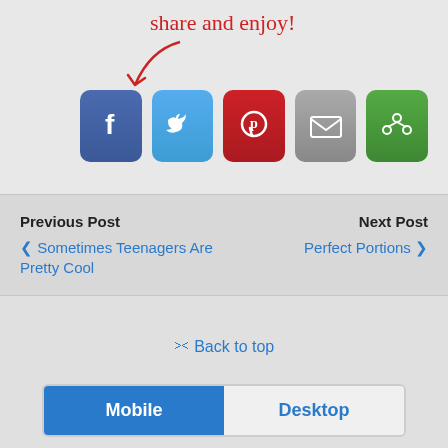[Figure (infographic): Share and enjoy callout with handwritten red text and arrow pointing to social media icon buttons for Facebook, Twitter, Pinterest, Email, and a share/print button]
Previous Post
< Sometimes Teenagers Are Pretty Cool
Next Post
Perfect Portions >
⋀ Back to top
Mobile   Desktop
All content Copyright My Life in Mommyland